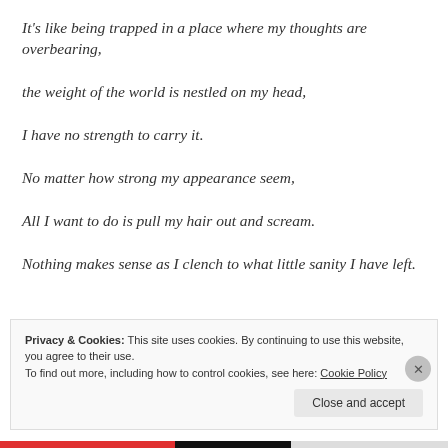It's like being trapped in a place where my thoughts are overbearing,
the weight of the world is nestled on my head,
I have no strength to carry it.
No matter how strong my appearance seem,
All I want to do is pull my hair out and scream.
Nothing makes sense as I clench to what little sanity I have left.
Privacy & Cookies: This site uses cookies. By continuing to use this website, you agree to their use.
To find out more, including how to control cookies, see here: Cookie Policy
Close and accept